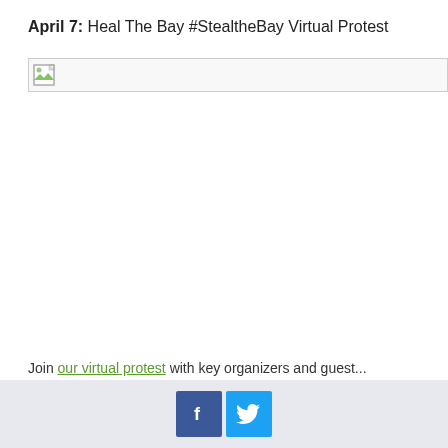April 7: Heal The Bay #StealtheBay Virtual Protest
[Figure (other): Broken/unloaded image placeholder with image icon and horizontal line border]
Join our virtual protest with key organizers and guest...